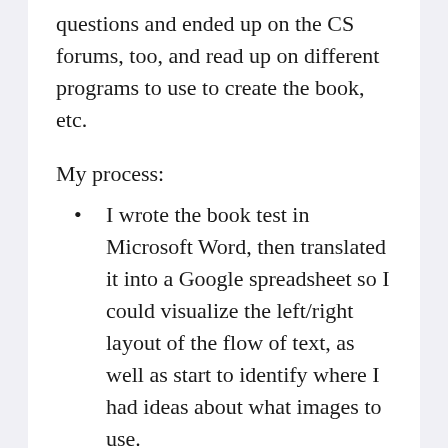questions and ended up on the CS forums, too, and read up on different programs to use to create the book, etc.
My process:
I wrote the book test in Microsoft Word, then translated it into a Google spreadsheet so I could visualize the left/right layout of the flow of text, as well as start to identify where I had ideas about what images to use.